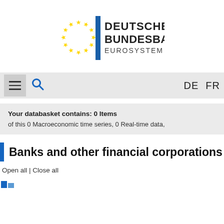[Figure (logo): Deutsche Bundesbank Eurosystem logo with EU stars circle and blue vertical bar]
[Figure (screenshot): Navigation bar with hamburger menu, search icon, and DE FR language links]
Your databasket contains: 0 Items
of this 0 Macroeconomic time series, 0 Real-time data,
Banks and other financial corporations
Open all | Close all